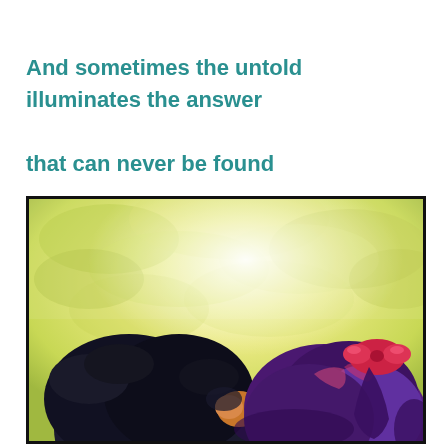And sometimes the untold illuminates the answer that can never be found
[Figure (photo): Outdoor photo showing two people from behind or side angle, one with dark/black messy hair on the left and one with purple/pink hair tied up with a red/pink bow on the right, against a bright sunlit yellowy-green leafy tree background]